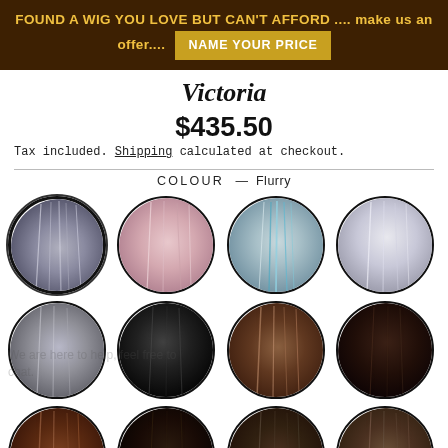FOUND A WIG YOU LOVE BUT CAN'T AFFORD .... make us an offer.... NAME YOUR PRICE
Victoria
$435.50
Tax included. Shipping calculated at checkout.
COLOUR — Flurry
[Figure (photo): Grid of 12 circular wig colour swatches showing various hair colours including Flurry (grey/silver blend), pink/mauve, blue-tipped silver, light silver, grey blend, black, brown/auburn highlights, dark chocolate, medium brown, dark brown/black, warm brown, and medium brown/ash]
We are here to help, feel free to chat.